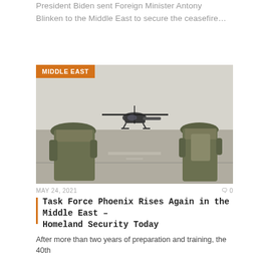President Biden sent Foreign Minister Antony Blinken to the Middle East to secure the ceasefire…
[Figure (photo): Two soldiers in camouflage uniforms standing on an airfield tarmac, viewed from behind, facing a military helicopter (Apache-style) on the runway with a hazy desert sky in the background. A category badge reading 'MIDDLE EAST' in white on orange is overlaid in the top-left corner.]
MAY 24, 2021   0 0
Task Force Phoenix Rises Again in the Middle East – Homeland Security Today
After more than two years of preparation and training, the 40th